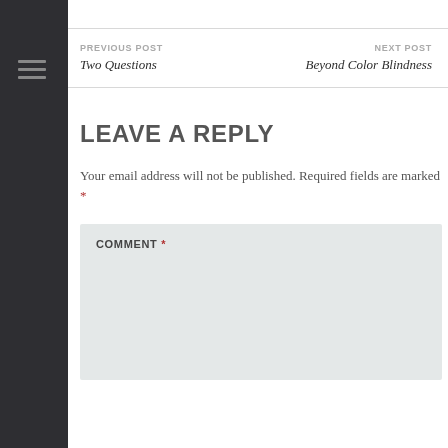PREVIOUS POST | Two Questions | NEXT POST | Beyond Color Blindness
LEAVE A REPLY
Your email address will not be published. Required fields are marked *
COMMENT *